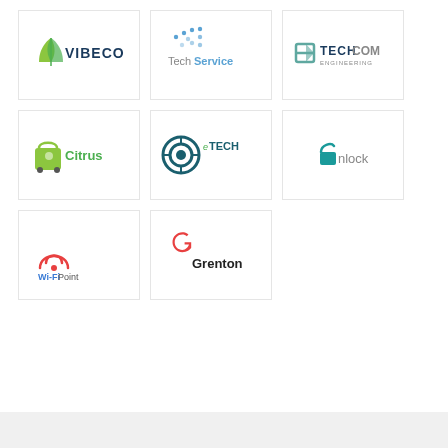[Figure (logo): VIBECO logo - green leaf/wave icon with VIBECO text in dark blue]
[Figure (logo): Tech Service logo - blue dotted arrow/tech icon with 'Tech' in gray and 'Service' in blue text]
[Figure (logo): TECHCOM Engineering logo - teal/gray icon with TECHCOM text and 'engineering' subtitle]
[Figure (logo): Citrus logo - green shopping bag icon with Citrus text]
[Figure (logo): eTECH logo - circular dark teal target/crosshair icon with eTECH text]
[Figure (logo): unlock logo - teal padlock icon with 'unlock' lowercase text in gray]
[Figure (logo): Wi-Fi Point logo - red wifi signal dome icon with Wi-Fi Point text]
[Figure (logo): Grenton logo - red G letter icon with Grenton text in dark]